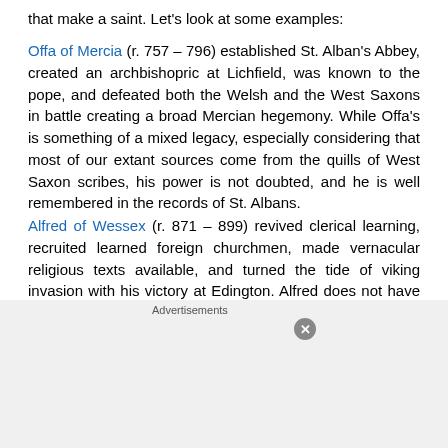that make a saint. Let's look at some examples:
Offa of Mercia (r. 757 – 796) established St. Alban's Abbey, created an archbishopric at Lichfield, was known to the pope, and defeated both the Welsh and the West Saxons in battle creating a broad Mercian hegemony. While Offa's is something of a mixed legacy, especially considering that most of our extant sources come from the quills of West Saxon scribes, his power is not doubted, and he is well remembered in the records of St. Albans.
Alfred of Wessex (r. 871 – 899) revived clerical learning, recruited learned foreign churchmen, made vernacular religious texts available, and turned the tide of viking invasion with his victory at Edington. Alfred does not have a mixed legacy, see the aforementioned West Saxon scribes. Alfred's biography, penned by the Bishop Asser, and the Wessex oriented Anglo-Saxon...
[Figure (infographic): DuckDuckGo advertisement banner: orange background with phone showing DuckDuckGo logo. Text reads 'Search, browse, and email with more privacy.' with 'All in One Free App' button.]